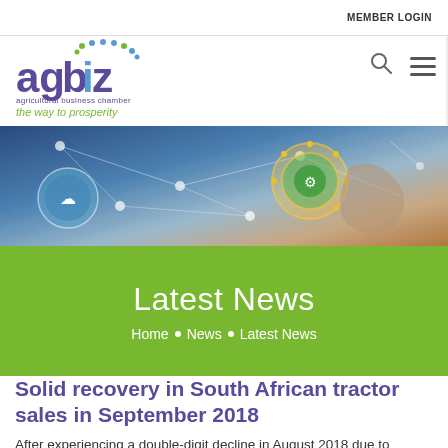MEMBER LOGIN
[Figure (logo): Agbiz agricultural business chamber logo with text 'the way to prosperity']
[Figure (photo): Person pointing at digital technology interface with network connectivity icons]
Latest News
Home • News • Latest News
Solid recovery in South African tractor sales in September 2018
After experiencing a double-digit decline in August 2018 due to delayed harvest, amongst other factors,